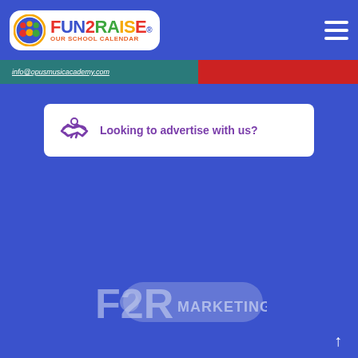[Figure (logo): Fun2Raise Our School Calendar logo - colorful text logo with circular icon showing people figures, on white rounded rectangle background]
info@opusmusicacademy.com
Looking to advertise with us?
[Figure (logo): F2R Marketing logo in light blue/white on blue background, pill-shaped badge]